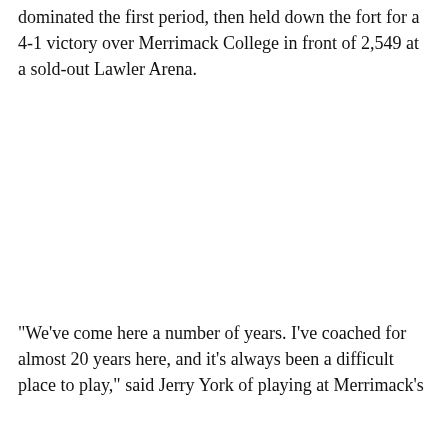dominated the first period, then held down the fort for a 4-1 victory over Merrimack College in front of 2,549 at a sold-out Lawler Arena.
"We've come here a number of years. I've coached for almost 20 years here, and it's always been a difficult place to play," said Jerry York of playing at Merrimack's